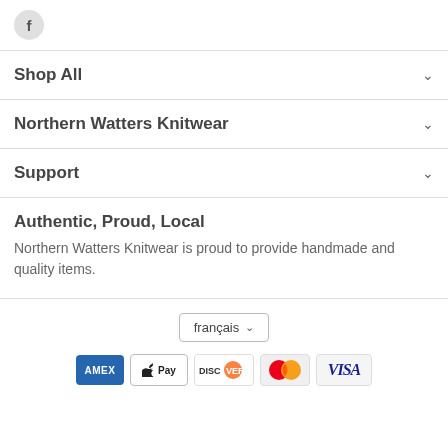[Figure (logo): Facebook icon - circular grey button with letter f]
Shop All
Northern Watters Knitwear
Support
Authentic, Proud, Local
Northern Watters Knitwear is proud to provide handmade and quality items.
[Figure (screenshot): Language selector button showing 'français' with dropdown chevron]
[Figure (infographic): Payment method icons: AMEX, Apple Pay, Discover, Mastercard, Visa]